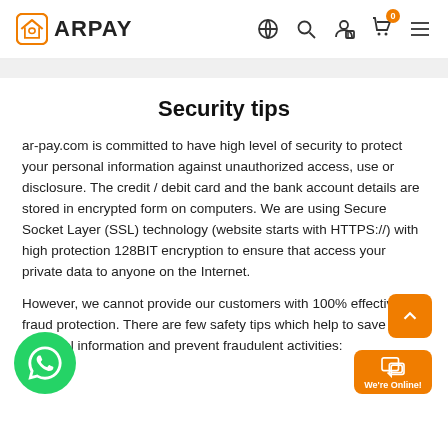[Figure (logo): ARPAY logo with house/envelope icon in orange, navigation icons: globe, search, user, cart with 0 badge, hamburger menu]
Security tips
ar-pay.com is committed to have high level of security to protect your personal information against unauthorized access, use or disclosure. The credit / debit card and the bank account details are stored in encrypted form on computers. We are using Secure Socket Layer (SSL) technology (website starts with HTTPS://) with high protection 128BIT encryption to ensure that access your private data to anyone on the Internet.
However, we cannot provide our customers with 100% effective fraud protection. There are few safety tips which help to save your personal information and prevent fraudulent activities: